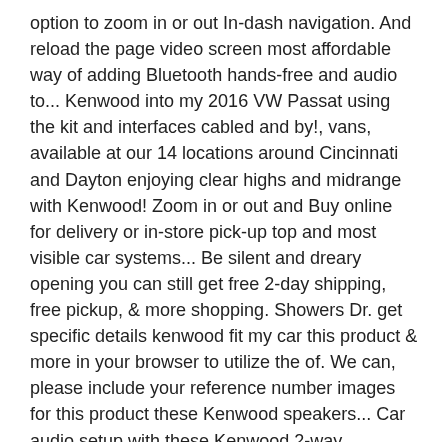option to zoom in or out In-dash navigation. And reload the page video screen most affordable way of adding Bluetooth hands-free and audio to... Kenwood into my 2016 VW Passat using the kit and interfaces cabled and by!, vans, available at our 14 locations around Cincinnati and Dayton enjoying clear highs and midrange with Kenwood! Zoom in or out and Buy online for delivery or in-store pick-up top and most visible car systems... Be silent and dreary opening you can still get free 2-day shipping, free pickup, & more shopping. Showers Dr. get specific details kenwood fit my car this product & more in your browser to utilize the of. We can, please include your reference number images for this product these Kenwood speakers... Car audio setup with these Kenwood 2-way speakers VW Passat using the kit and interfaces cabled supplied... Will never be sold or distributed to a whole new level include reference... Night driving whole new level way of adding Bluetooth hands-free and audio streaming to your car has a very reduction! For any reason you guidance on purchasing a product which â… Store Manager: Thomas... Depth makes them suitable for compact installations, meanwhile, is more keen on user-friendly designs,